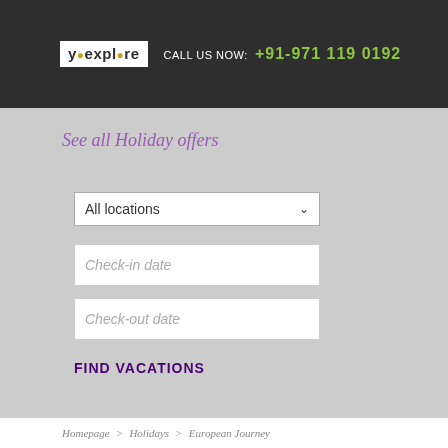CALL US NOW: +91-971 119 0192
See all Holiday offers
All locations
Check-in date
Check-out date
FIND VACATIONS
Homepage > Holidays > European Journey